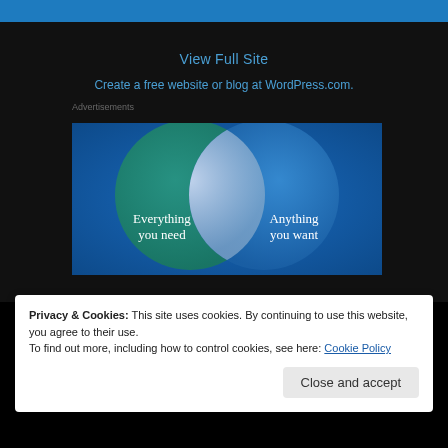View Full Site
Create a free website or blog at WordPress.com.
Advertisements
[Figure (infographic): Venn diagram advertisement showing two overlapping circles on a blue-green gradient background. Left circle (teal/green) contains text 'Everything you need'. Right circle (blue) contains text 'Anything you want'. The overlapping area is a lighter blue-white color.]
Privacy & Cookies: This site uses cookies. By continuing to use this website, you agree to their use.
To find out more, including how to control cookies, see here: Cookie Policy
Close and accept